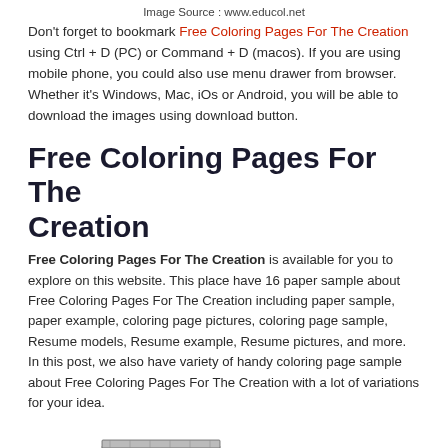Image Source : www.educol.net
Don't forget to bookmark Free Coloring Pages For The Creation using Ctrl + D (PC) or Command + D (macos). If you are using mobile phone, you could also use menu drawer from browser. Whether it's Windows, Mac, iOs or Android, you will be able to download the images using download button.
Free Coloring Pages For The Creation
Free Coloring Pages For The Creation is available for you to explore on this website. This place have 16 paper sample about Free Coloring Pages For The Creation including paper sample, paper example, coloring page pictures, coloring page sample, Resume models, Resume example, Resume pictures, and more. In this post, we also have variety of handy coloring page sample about Free Coloring Pages For The Creation with a lot of variations for your idea.
[Figure (illustration): Partial illustration of a stack of papers or books, shown in black and white hatching style, visible at bottom left of page.]